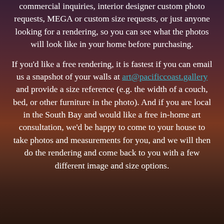commercial inquiries, interior designer custom photo requests, MEGA or custom size requests, or just anyone looking for a rendering, so you can see what the photos will look like in your home before purchasing.

If you'd like a free rendering, it is fastest if you can email us a snapshot of your walls at art@pacificcoast.gallery and provide a size reference (e.g. the width of a couch, bed, or other furniture in the photo). And if you are local in the South Bay and would like a free in-home art consultation, we'd be happy to come to your house to take photos and measurements for you, and we will then do the rendering and come back to you with a few different image and size options.